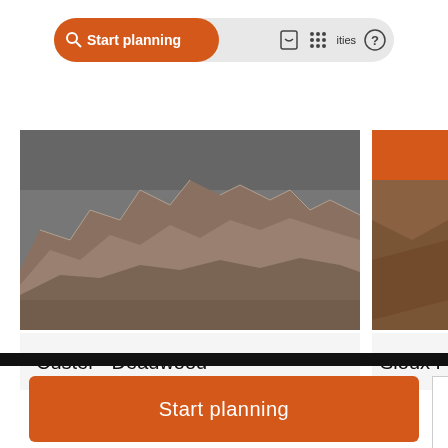[Figure (screenshot): Navigation bar with orange 'Start planning' search button and icons for saved places, activities, and help]
[Figure (photo): Rocky badlands landscape photo for Custer · Deadwood destination card]
Custer · Deadwood
[Figure (photo): Partial destination card for Sioux Falls with orange header and italic 'in' text overlay]
Sioux Falls
[Figure (screenshot): Orange 'Start planning' button at bottom of page]